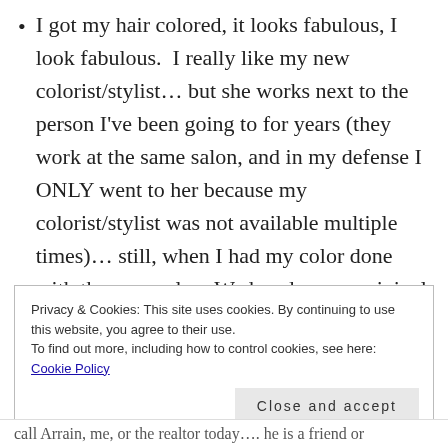I got my hair colored, it looks fabulous, I look fabulous.  I really like my new colorist/stylist... but she works next to the person I've been going to for years (they work at the same salon, and in my defense I ONLY went to her because my colorist/stylist was not available multiple times)... still, when I had my color done with the new gal on Wednesday, my original gal was there... a tiny bit uncomfortable.
Privacy & Cookies: This site uses cookies. By continuing to use this website, you agree to their use.
To find out more, including how to control cookies, see here: Cookie Policy
Close and accept
call Arrain, me, or the realtor today.... he is a friend or